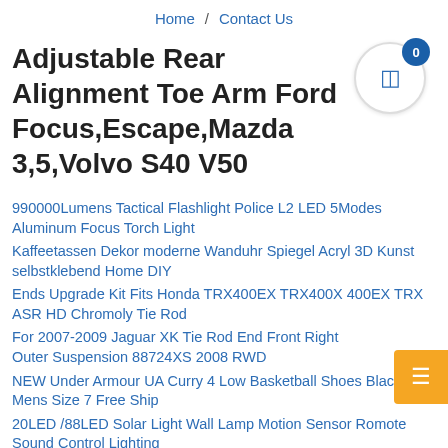Home / Contact Us
Adjustable Rear Alignment Toe Arm Ford Focus,Escape,Mazda 3,5,Volvo S40 V50
990000Lumens Tactical Flashlight Police L2 LED 5Modes Aluminum Focus Torch Light
Kaffeetassen Dekor moderne Wanduhr Spiegel Acryl 3D Kunst selbstklebend Home DIY
Ends Upgrade Kit Fits Honda TRX400EX TRX400X 400EX TRX ASR HD Chromoly Tie Rod
For 2007-2009 Jaguar XK Tie Rod End Front Right Outer Suspension 88724XS 2008 RWD
NEW Under Armour UA Curry 4 Low Basketball Shoes Black Mens Size 7 Free Ship
20LED /88LED Solar Light Wall Lamp Motion Sensor Romote Sound Control Lighting
Best of Price All 1500 to 1000 DC1 Power Production Hor...